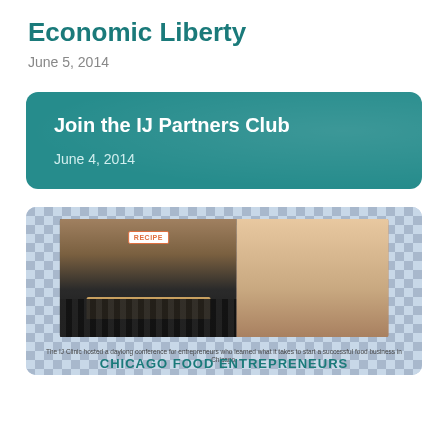Economic Liberty
June 5, 2014
Join the IJ Partners Club
June 4, 2014
[Figure (photo): Photo card with blue-white checkered background containing two overlapping photographs: left shows an auditorium/conference hall with RECIPE sign on stage, right shows a panel of people at a table. Caption reads: The IJ Clinic hosted a daylong conference for entrepreneurs who learned what it takes to start a successful food business in Chicago. Bottom text reads: CHICAGO FOOD ENTREPRENEURS]
The IJ Clinic hosted a daylong conference for entrepreneurs who learned what it takes to start a successful food business in Chicago.
CHICAGO FOOD ENTREPRENEURS